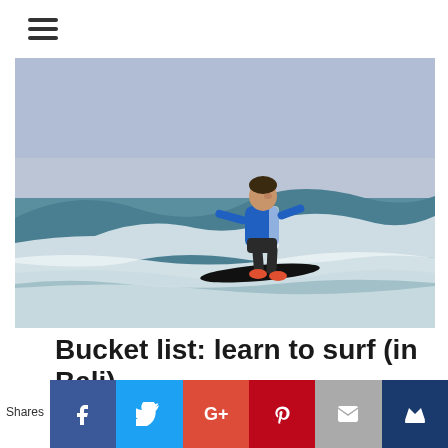≡
[Figure (photo): A young surfer in a blue long-sleeve rash guard and dark shorts riding a wave on a black surfboard, with white ocean foam behind, photographed from the beach.]
Bucket list: learn to surf (in Bali)
Shares
[Figure (infographic): Social sharing buttons row: Facebook (blue), Twitter (light blue), Google+ (red), Pinterest (dark red), Email (grey), Crown/bookmark (dark blue)]